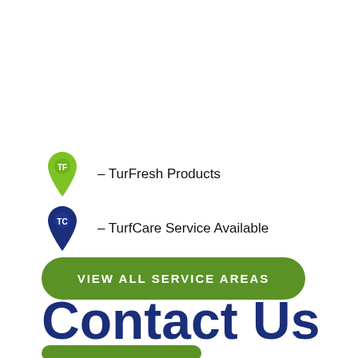TF – TurFresh Products
TC – TurfCare Service Available
VIEW ALL SERVICE AREAS
Contact Us